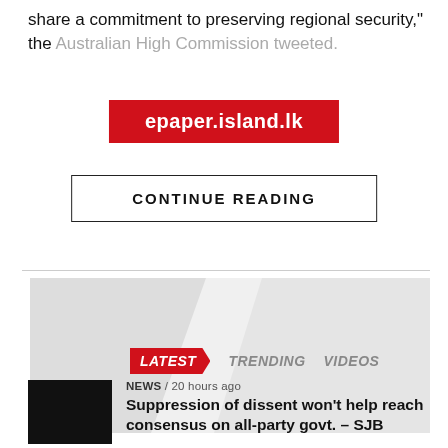share a commitment to preserving regional security," the Australian High Commission tweeted.
[Figure (screenshot): Red button/banner with white text: epaper.island.lk]
[Figure (screenshot): Continue Reading button with black border]
[Figure (other): Advertisement image placeholder with gray shapes]
LATEST   TRENDING   VIDEOS
NEWS / 20 hours ago
Suppression of dissent won't help reach consensus on all-party govt. – SJB